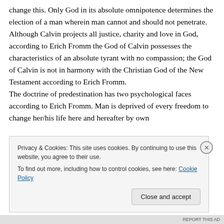change this. Only God in its absolute omnipotence determines the election of a man wherein man cannot and should not penetrate. Although Calvin projects all justice, charity and love in God, according to Erich Fromm the God of Calvin possesses the characteristics of an absolute tyrant with no compassion; the God of Calvin is not in harmony with the Christian God of the New Testament according to Erich Fromm. The doctrine of predestination has two psychological faces according to Erich Fromm. Man is deprived of every freedom to change her/his life here and hereafter by own
Privacy & Cookies: This site uses cookies. By continuing to use this website, you agree to their use.
To find out more, including how to control cookies, see here: Cookie Policy
Close and accept
REPORT THIS AD